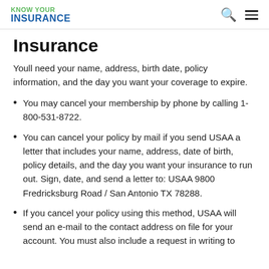KNOW YOUR INSURANCE
Insurance
Youll need your name, address, birth date, policy information, and the day you want your coverage to expire.
You may cancel your membership by phone by calling 1-800-531-8722.
You can cancel your policy by mail if you send USAA a letter that includes your name, address, date of birth, policy details, and the day you want your insurance to run out. Sign, date, and send a letter to: USAA 9800 Fredricksburg Road / San Antonio TX 78288.
If you cancel your policy using this method, USAA will send an e-mail to the contact address on file for your account. You must also include a request in writing to